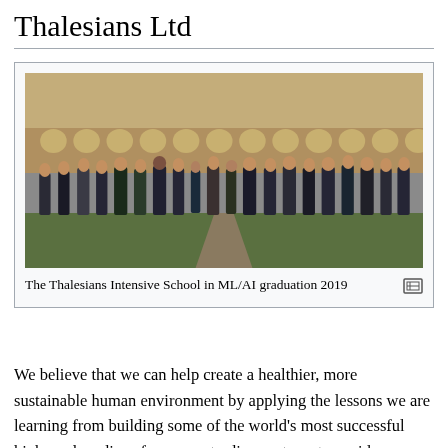Thalesians Ltd
[Figure (photo): Group photo of Thalesians Intensive School in ML/AI graduation 2019, taken in front of a classical stone building with arched colonnades. Approximately 20 people standing on a grass courtyard path.]
The Thalesians Intensive School in ML/AI graduation 2019
We believe that we can help create a healthier, more sustainable human environment by applying the lessons we are learning from building some of the world's most successful high- and medium-frequency trading systems to a wider range of data